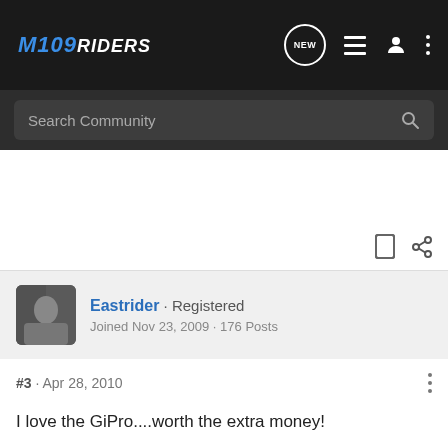M109RIDERS
Search Community
Eastrider · Registered
Joined Nov 23, 2009 · 176 Posts
#3 · Apr 28, 2010
I love the GiPro....worth the extra money!